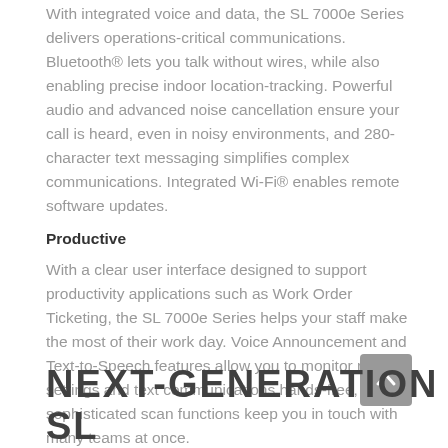With integrated voice and data, the SL 7000e Series delivers operations-critical communications. Bluetooth® lets you talk without wires, while also enabling precise indoor location-tracking. Powerful audio and advanced noise cancellation ensure your call is heard, even in noisy environments, and 280-character text messaging simplifies complex communications. Integrated Wi-Fi® enables remote software updates.
Productive
With a clear user interface designed to support productivity applications such as Work Order Ticketing, the SL 7000e Series helps your staff make the most of their work day. Voice Announcement and Text-to-Speech features allow you to monitor radio settings and text communications hands-free, and sophisticated scan functions keep you in touch with many teams at once.
NEXT-GENERATION SL